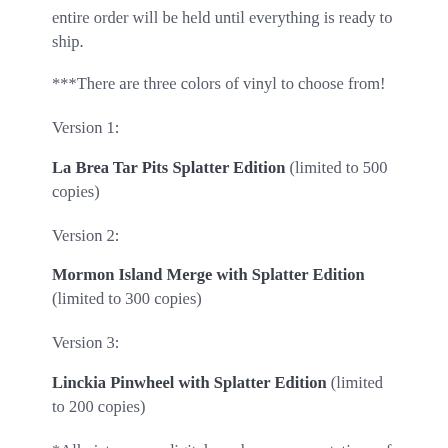entire order will be held until everything is ready to ship.
***There are three colors of vinyl to choose from!
Version 1:
La Brea Tar Pits Splatter Edition (limited to 500 copies)
Version 2:
Mormon Island Merge with Splatter Edition (limited to 300 copies)
Version 3:
Linckia Pinwheel with Splatter Edition (limited to 200 copies)
*All pictures are digital mock up representations of the